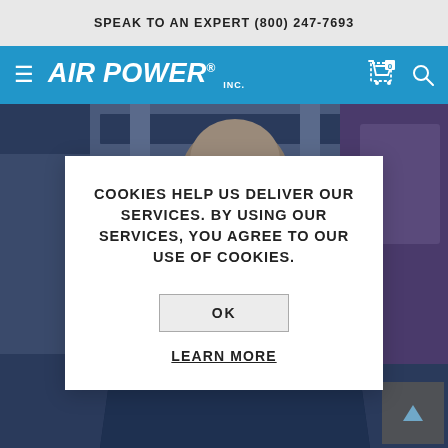SPEAK TO AN EXPERT (800) 247-7693
[Figure (logo): Air Power Inc. logo — white bold italic text on blue navigation bar with hamburger menu, cart icon, and search icon]
[Figure (photo): Photo of a person wearing a navy blue Air Power Inc. polo shirt standing in an industrial/warehouse setting]
COOKIES HELP US DELIVER OUR SERVICES. BY USING OUR SERVICES, YOU AGREE TO OUR USE OF COOKIES.
OK
LEARN MORE